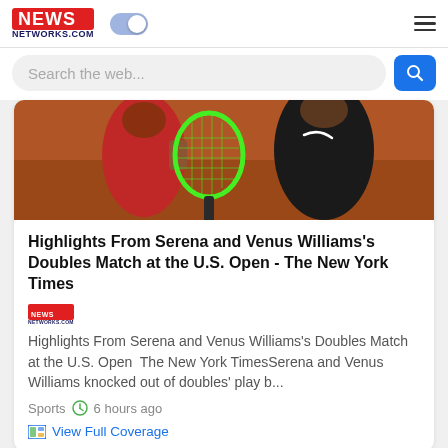NEWS NETWORKS.COM
Search the web...
[Figure (photo): Two women tennis players, one in red outfit and one in black Nike outfit, holding a green tennis racket on a clay court.]
Highlights From Serena and Venus Williams's Doubles Match at the U.S. Open - The New York Times
Highlights From Serena and Venus Williams's Doubles Match at the U.S. Open  The New York TimesSerena and Venus Williams knocked out of doubles' play b...
Sports   6 hours ago
View Full Coverage
[Figure (photo): Partial bottom image strip showing dark/night scene.]